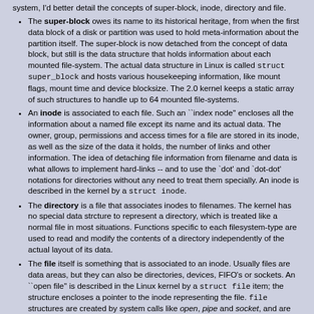system, I'd better detail the concepts of super-block, inode, directory and file.
The super-block owes its name to its historical heritage, from when the first data block of a disk or partition was used to hold meta-information about the partition itself. The super-block is now detached from the concept of data block, but still is the data structure that holds information about each mounted file-system. The actual data structure in Linux is called struct super_block and hosts various housekeeping information, like mount flags, mount time and device blocksize. The 2.0 kernel keeps a static array of such structures to handle up to 64 mounted file-systems.
An inode is associated to each file. Such an ``index node'' encloses all the information about a named file except its name and its actual data. The owner, group, permissions and access times for a file are stored in its inode, as well as the size of the data it holds, the number of links and other information. The idea of detaching file information from filename and data is what allows to implement hard-links -- and to use the `dot' and `dot-dot' notations for directories without any need to treat them specially. An inode is described in the kernel by a struct inode.
The directory is a file that associates inodes to filenames. The kernel has no special data strcture to represent a directory, which is treated like a normal file in most situations. Functions specific to each filesystem-type are used to read and modify the contents of a directory independently of the actual layout of its data.
The file itself is something that is associated to an inode. Usually files are data areas, but they can also be directories, devices, FIFO's or sockets. An ``open file'' is described in the Linux kernel by a struct file item; the structure encloses a pointer to the inode representing the file. file structures are created by system calls like open, pipe and socket, and are shared by father and child across fork.
Object Orientedness